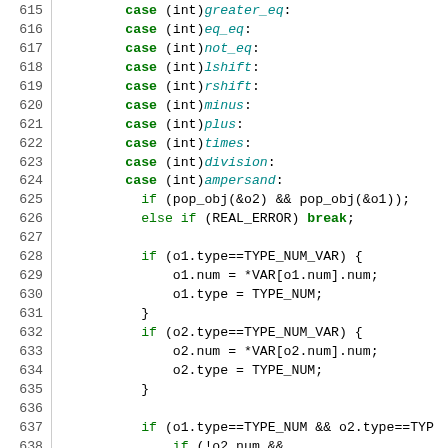[Figure (screenshot): Source code snippet (C/C++) with line numbers 615-644, showing case statements and if/else logic for operator handling including pop_obj, TYPE_NUM_VAR checks, and switch statement.]